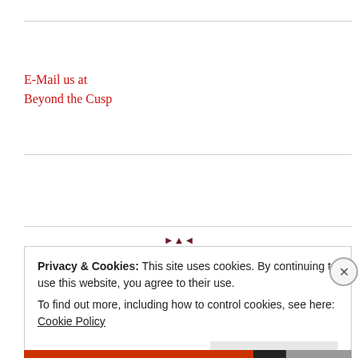E-Mail us at
Beyond the Cusp
[Figure (illustration): Small decorative triangular arrow symbols in dark red]
Privacy & Cookies: This site uses cookies. By continuing to use this website, you agree to their use.
To find out more, including how to control cookies, see here: Cookie Policy
Close and accept